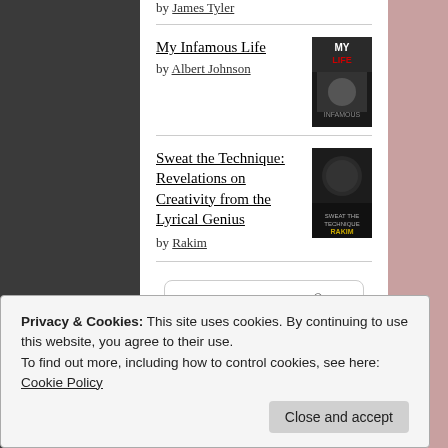by James Tyler
My Infamous Life by Albert Johnson
Sweat the Technique: Revelations on Creativity from the Lyrical Genius by Rakim
[Figure (logo): goodreads logo button]
Privacy & Cookies: This site uses cookies. By continuing to use this website, you agree to their use.
To find out more, including how to control cookies, see here: Cookie Policy
Close and accept